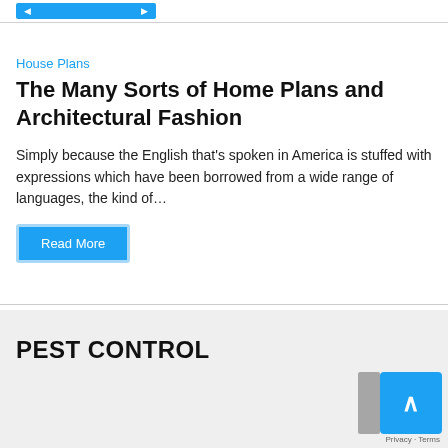House Plans
The Many Sorts of Home Plans and Architectural Fashion
Simply because the English that's spoken in America is stuffed with expressions which have been borrowed from a wide range of languages, the kind of…
Read More
PEST CONTROL